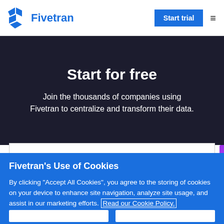Fivetran | Start trial
Start for free
Join the thousands of companies using Fivetran to centralize and transform their data.
Fivetran's Use of Cookies
By clicking "Accept All Cookies", you agree to the storing of cookies on your device to enhance site navigation, analyze site usage, and assist in our marketing efforts. Read our Cookie Policy.